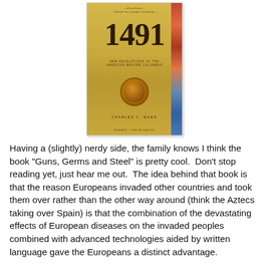[Figure (photo): Book cover of '1491: New Revelations of the Americas Before Columbus' by Charles C. Mann, featuring a golden/yellow background with large bold title '1491', subtitle text, a circular medallion/seal in the center, and author name at bottom. Right side has a colorful vertical strip.]
Having a (slightly) nerdy side, the family knows I think the book "Guns, Germs and Steel" is pretty cool.  Don't stop reading yet, just hear me out.  The idea behind that book is that the reason Europeans invaded other countries and took them over rather than the other way around (think the Aztecs taking over Spain) is that the combination of the devastating effects of European diseases on the invaded peoples combined with advanced technologies aided by written language gave the Europeans a distinct advantage.
Now comes Mr. Mann's book that is an interesting add-on to that line of thought, with a twist.  Part of the thinking has been that in most of the Americas, the natives were a somewhat docile population blended into the landscape,